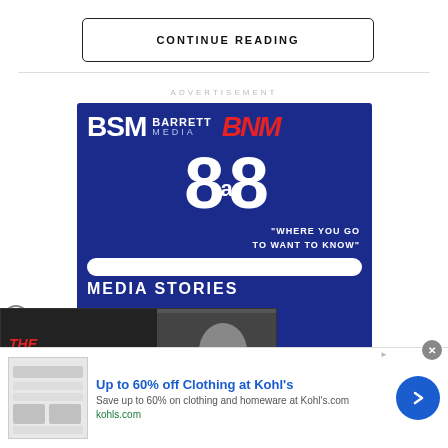CONTINUE READING
ADVERTISEMENT
[Figure (illustration): BSM Barrett Media BNM advertisement banner with 8@8 branding and tagline WHERE YOU GO TO WANT TO KNOW, plus MEDIA STORIES bar]
[Figure (illustration): Overlay popup showing The Jason Barrett Podcast and Jim Rome Got New Playbook text with a photo]
[Figure (illustration): Bottom banner ad for Kohl's: Up to 60% off Clothing at Kohl's. Save up to 60% on clothing and homeware at Kohls.com. kohls.com]